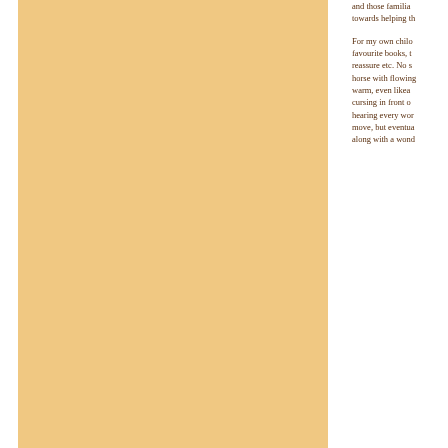[Figure (illustration): Large tan/amber colored rectangular block occupying the left portion of the page]
and those familia towards helping th
For my own chilo favourite books, t reassure etc. No s horse with flowing warm, even likea cursing in front o hearing every wor move, but eventua along with a wond